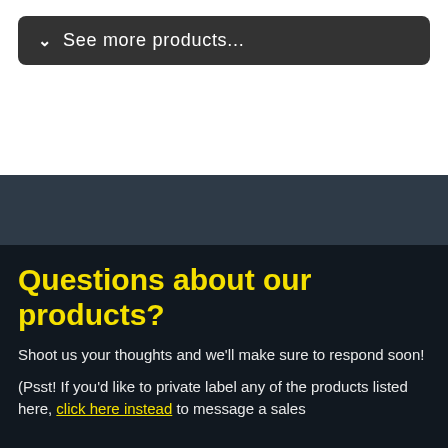See more products...
Questions about our products?
Shoot us your thoughts and we'll make sure to respond soon!
(Psst! If you'd like to private label any of the products listed here, click here instead to message a sales